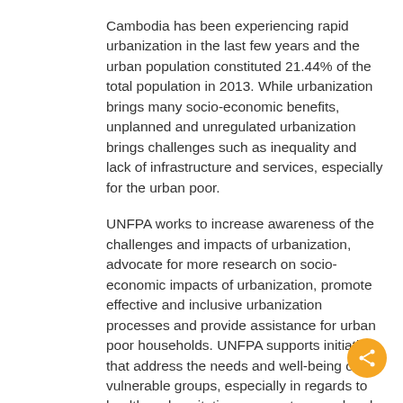Cambodia has been experiencing rapid urbanization in the last few years and the urban population constituted 21.44% of the total population in 2013. While urbanization brings many socio-economic benefits, unplanned and unregulated urbanization brings challenges such as inequality and lack of infrastructure and services, especially for the urban poor.
UNFPA works to increase awareness of the challenges and impacts of urbanization, advocate for more research on socio-economic impacts of urbanization, promote effective and inclusive urbanization processes and provide assistance for urban poor households. UNFPA supports initiatives that address the needs and well-being of vulnerable groups, especially in regards to health and sanitation, access to sexual and reproductive health services and increasing gender-equity for youth and women in urban poor communities.
Migration